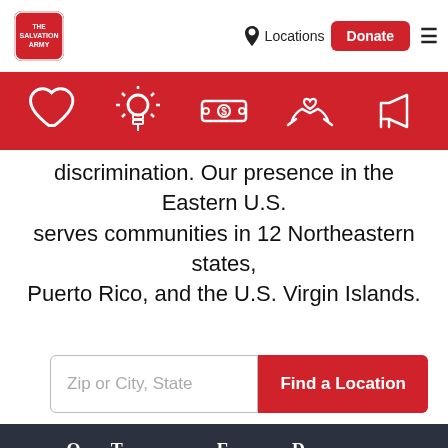Locations | Donate
[Figure (illustration): Red icon bar with 5 white icons: heart, lightbulb, dollar bill, hands holding heart, megaphone]
discrimination. Our presence in the Eastern U.S. serves communities in 12 Northeastern states, Puerto Rico, and the U.S. Virgin Islands.
Zip or City, State | Find a Location
One Territory Eleven Divisions
Click your region on the map below to find your local Salvation Army